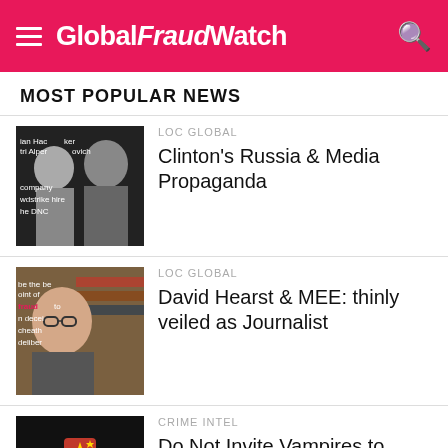GlobalFraudWatch
MOST POPULAR NEWS
[Figure (photo): Black and white photo collage of Ian Hacker and Dmitri Alperovich with text overlay mentioning company, CrowdStrike hired, the DNC]
LOC GLOBAL
Clinton's Russia & Media Propaganda
[Figure (photo): Photo of person with glasses in front of bookshelves with text overlay about fraud and deceit]
LOC GLOBAL
David Hearst & MEE: thinly veiled as Journalist
[Figure (illustration): Stylized red and black illustration of a figure wearing a hat with Chinese flag elements, representing espionage]
CRIME INTEL
Do Not Invite Vampires to Cross Your Threshold
[Figure (photo): Partial thumbnail, grey]
FRAUD NEWS